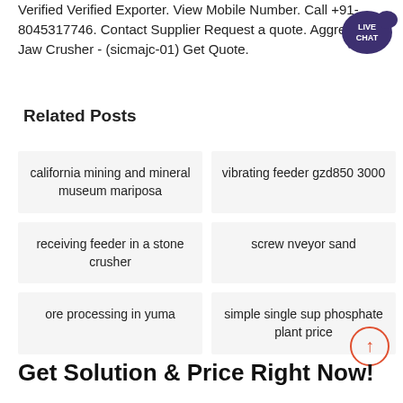Verified Verified Exporter. View Mobile Number. Call +91-8045317746. Contact Supplier Request a quote. Aggregate Jaw Crusher - (sicmajc-01) Get Quote.
[Figure (illustration): Live Chat speech bubble icon in dark blue/purple with white text 'LIVE CHAT']
Related Posts
california mining and mineral museum mariposa
vibrating feeder gzd850 3000
receiving feeder in a stone crusher
screw nveyor sand
ore processing in yuma
simple single sup phosphate plant price
[Figure (illustration): Back to top circular button with upward arrow in orange/red circle outline]
Get Solution & Price Right Now!